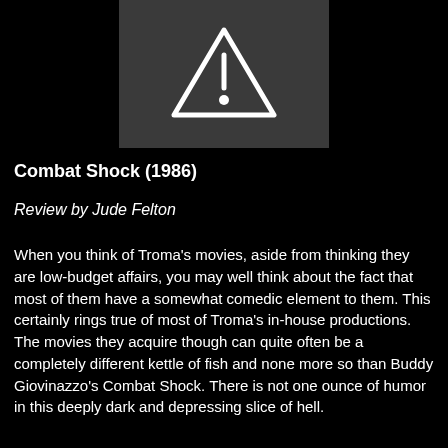[Figure (other): Movie poster placeholder image with a dark gray background and a white warning/caution triangle icon with a small circle inside it]
Combat Shock (1986)
Review by Jude Felton
When you think of Troma's movies, aside from thinking they are low-budget affairs, you may well think about the fact that most of them have a somewhat comedic element to them. This certainly rings true of most of Troma's in-house productions. The movies they acquire though can quite often be a completely different kettle of fish and none more so than Buddy Giovinazzo's Combat Shock. There is not one ounce of humor in this deeply dark and depressing slice of hell.